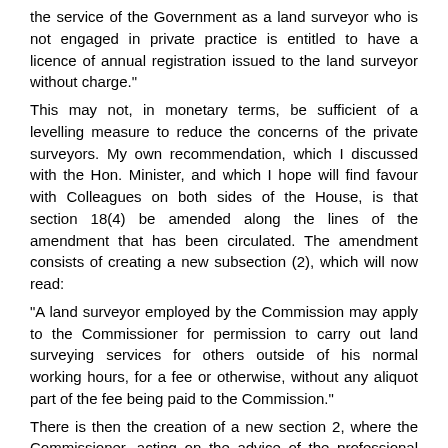the service of the Government as a land surveyor who is not engaged in private practice is entitled to have a licence of annual registration issued to the land surveyor without charge." This may not, in monetary terms, be sufficient of a levelling measure to reduce the concerns of the private surveyors. My own recommendation, which I discussed with the Hon. Minister, and which I hope will find favour with Colleagues on both sides of the House, is that section 18(4) be amended along the lines of the amendment that has been circulated. The amendment consists of creating a new subsection (2), which will now read: "A land surveyor employed by the Commission may apply to the Commissioner for permission to carry out land surveying services for others outside of his normal working hours, for a fee or otherwise, without any aliquot part of the fee being paid to the Commission." There is then the creation of a new section 2, where the Commissioner, acting on the advice of the professional body representing land surveyors, shall grant or deny such permission. In the event of a denial of permission, the applicant should be provided with the reasons for the decision. That is the sum total of the amendment. I believe that the land surveyors in private practice, with whom I have consulted, would have their apprehensions put to rest, were we to accept this amendment.